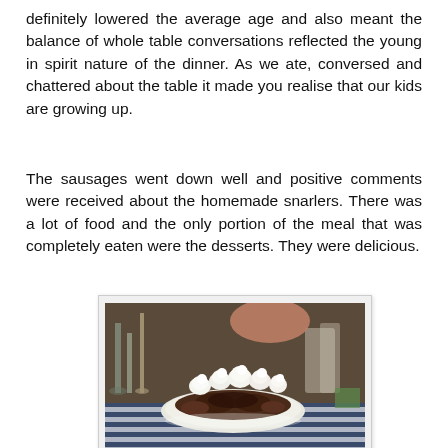definitely lowered the average age and also meant the balance of whole table conversations reflected the young in spirit nature of the dinner. As we ate, conversed and chattered about the table it made you realise that our kids are growing up.
The sausages went down well and positive comments were received about the homemade snarlers. There was a lot of food and the only portion of the meal that was completely eaten were the desserts. They were delicious.
[Figure (photo): A plate of chocolate dessert topped with meringues or whipped cream dollops, placed on a blue and white striped tablecloth, with glasses and table settings visible in the background.]